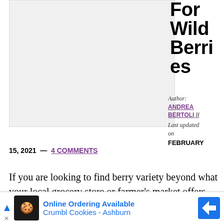[Figure (photo): Large gray image placeholder area on the left side of the page]
For Wild Berries
Author: ANDREA BERTOLI // Last updated on FEBRUARY 15, 2021 — 4 COMMENTS
If you are looking to find berry variety beyond what your local grocery store or farmer's market offers, you can look to berry foraging to seek and find a
[Figure (other): Advertisement banner: Online Ordering Available / Crumbl Cookies - Ashburn]